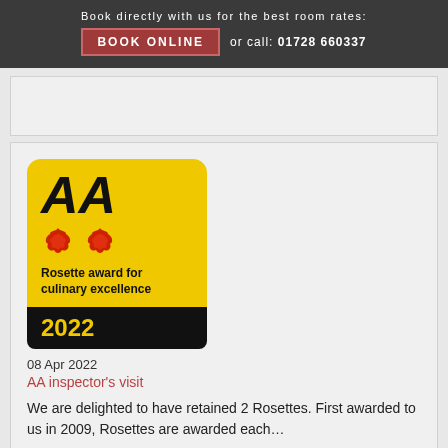Book directly with us for the best room rates: BOOK ONLINE or call: 01728 660337
[Figure (logo): AA Rosette award for culinary excellence 2022 badge - yellow and black logo with two red rosettes]
08 Apr 2022
AA inspector's visit
We are delighted to have retained 2 Rosettes. First awarded to us in 2009, Rosettes are awarded each...